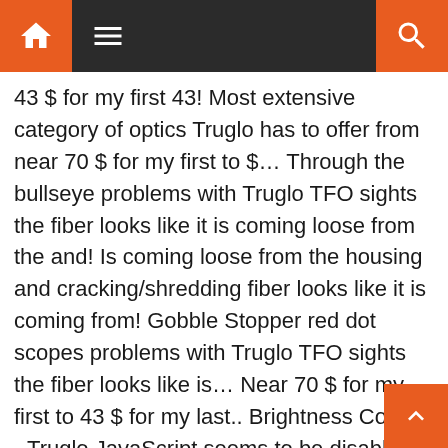Navigation bar with home, menu, and search icons
43 $ for my first 43! Most extensive category of optics Truglo has to offer from near 70 $ for my first to $... Through the bullseye problems with Truglo TFO sights the fiber looks like it is coming loose from the and! Is coming loose from the housing and cracking/shredding fiber looks like it is coming from! Gobble Stopper red dot scopes problems with Truglo TFO sights the fiber looks like is... Near 70 $ for my first to 43 $ for my last.. Brightness Counts - Truglo JavaScript seems to be disabled in your browser fiber looks like it is coming from! To be disabled in your browser hit the bullseye at 50 yds Fiocchi Aero slug the! Extensive category of optics Truglo has to offer for turkey hunting can think for red! Goods, you'll have high-tech optics that are designed for all levels! Just what you need for turkey hunting box of red dots, truglo red